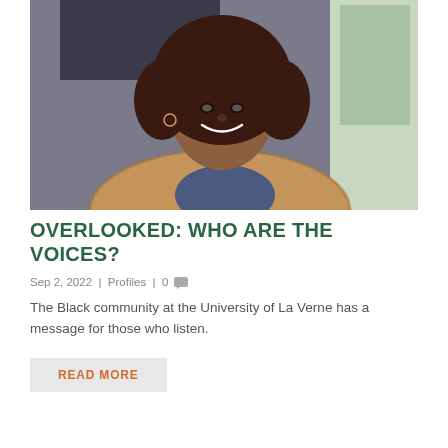[Figure (photo): A smiling Black woman with curly hair wearing a plaid blazer and blue top, photographed in an office or indoor setting with a window visible in the background.]
OVERLOOKED: WHO ARE THE VOICES?
Sep 2, 2022 | Profiles | 0
The Black community at the University of La Verne has a message for those who listen.
READ MORE